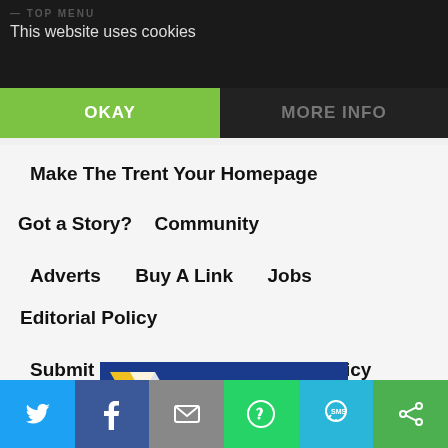TOP MENU
This website uses cookies
OKAY
MORE INFO
Make The Trent Your Homepage
Got a Story?
Community
Adverts
Buy A Link
Jobs
Editorial Policy
Submit an Article
Comments Policy
User Agreement
[Figure (logo): TheTrent - Nigeria's Internet Newspaper logo on blue background with yellow/white geometric emblem]
[Figure (infographic): Social sharing bar with Twitter, Facebook, Email, WhatsApp, SMS, and share icons]